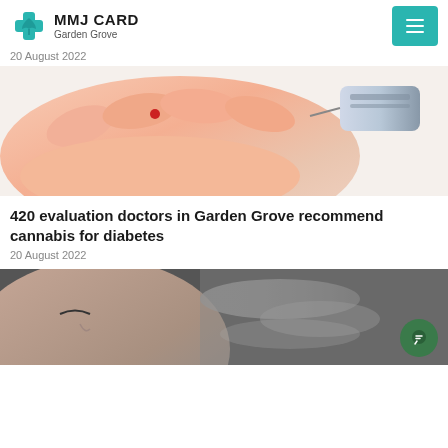MMJ CARD Garden Grove
20 August 2022
[Figure (photo): Close-up photo of a hand with a blood glucose test being performed using a lancet device and glucometer]
420 evaluation doctors in Garden Grove recommend cannabis for diabetes
20 August 2022
[Figure (photo): A woman exhaling smoke or vapor, shown in close-up, with a green chat button overlay in the bottom right corner]